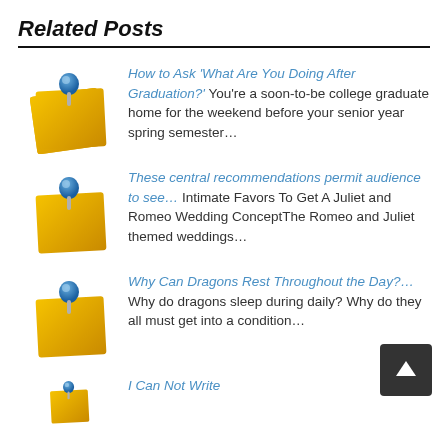Related Posts
How to Ask ‘What Are You Doing After Graduation?’ You’re a soon-to-be college graduate home for the weekend before your senior year spring semester…
These central recommendations permit audience to see… Intimate Favors To Get A Juliet and Romeo Wedding ConceptThe Romeo and Juliet themed weddings…
Why Can Dragons Rest Throughout the Day?… Why do dragons sleep during daily? Why do they all must get into a condition…
I Can Not Write